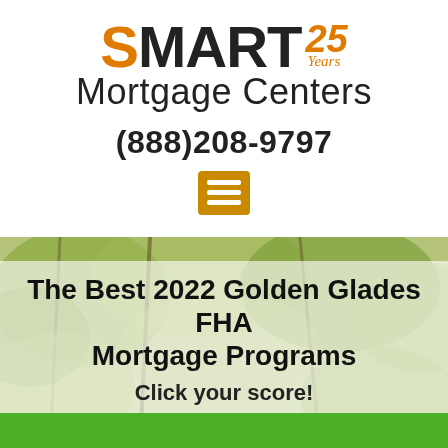[Figure (logo): SMART 25 Years Mortgage Centers logo with orange S and orange 25 Years text]
(888)208-9797
[Figure (other): Orange hamburger/menu icon button]
[Figure (photo): Background photo of trees/foliage with semi-transparent white overlay box]
The Best 2022 Golden Glades FHA Mortgage Programs
Click your score!